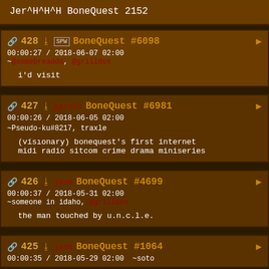Jer^H^H^H BoneQuest 2152
428  SPW  BoneQuest #6098  00:00:27 / 2018-06-07 02:00 ~@somebreaddo, @grilldos  i'd visit
427  parsin  BoneQuest #6981  00:00:26 / 2018-06-05 02:00 ~Pseudo-ku#8217, traxle  (vísıonary) bonequest's first internet midi radio sitcom crime drama miniseries
426  jacm  BoneQuest #4699  00:00:37 / 2018-05-31 02:00 ~someone in idaho, @grilldos  the man touched by u.n.c.l.e.
425  jacm  BoneQuest #1064  00:00:35 / 2018-05-29 02:00  ~soto